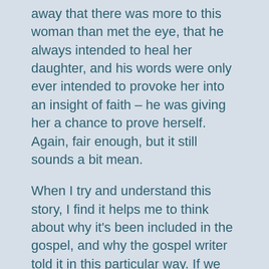away that there was more to this woman than met the eye, that he always intended to heal her daughter, and his words were only ever intended to provoke her into an insight of faith – he was giving her a chance to prove herself.  Again, fair enough, but it still sounds a bit mean.
When I try and understand this story, I find it helps me to think about why it's been included in the gospel, and why the gospel writer told it in this particular way.  If we assume that every word of the gospels is there for a reason, then we can ask ourselves why these particular verses  are here, and what we can learn from them.
If this is where we start from, we can start to speculate a bit more, especially if we focus not so much on what Jesus says, but on what the woman says: 'Even the dogs feed on the scraps that fall from